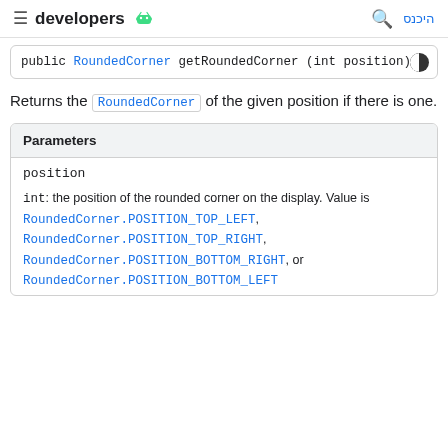developers [Android icon] | היכנס
public RoundedCorner getRoundedCorner (int position)
Returns the RoundedCorner of the given position if there is one.
| Parameters |
| --- |
| position | int: the position of the rounded corner on the display. Value is RoundedCorner.POSITION_TOP_LEFT, RoundedCorner.POSITION_TOP_RIGHT, RoundedCorner.POSITION_BOTTOM_RIGHT, or RoundedCorner.POSITION_BOTTOM_LEFT |